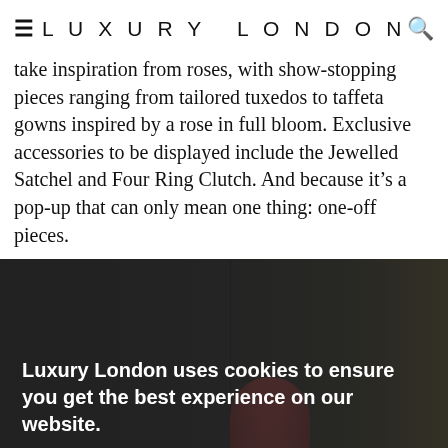LUXURY LONDON
take inspiration from roses, with show-stopping pieces ranging from tailored tuxedos to taffeta gowns inspired by a rose in full bloom. Exclusive accessories to be displayed include the Jewelled Satchel and Four Ring Clutch. And because it’s a pop-up that can only mean one thing: one-off pieces.
[Figure (photo): Dark interior photo of a luxury retail space or pop-up event venue, showing ceiling lights, window panes, and a red-dressed figure inside. A cookie consent overlay appears over the bottom portion of the image with text 'Luxury London uses cookies to ensure you get the best experience on our website.' and a Cookies Notice link, plus a Continue button.]